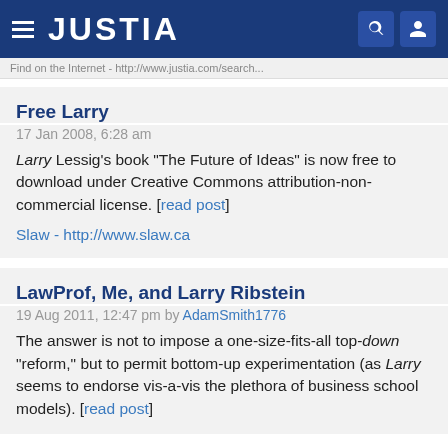JUSTIA
Find on the Internet - http://www.justia.com/search...
Free Larry
17 Jan 2008, 6:28 am
Larry Lessig's book "The Future of Ideas" is now free to download under Creative Commons attribution-non-commercial license. [read post]
Slaw - http://www.slaw.ca
LawProf, Me, and Larry Ribstein
19 Aug 2011, 12:47 pm by AdamSmith1776
The answer is not to impose a one-size-fits-all top-down "reform," but to permit bottom-up experimentation (as Larry seems to endorse vis-a-vis the plethora of business school models). [read post]